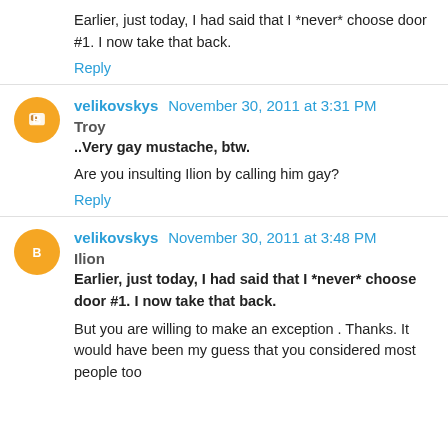Earlier, just today, I had said that I *never* choose door #1. I now take that back.
Reply
velikovskys November 30, 2011 at 3:31 PM
Troy
..Very gay mustache, btw.
Are you insulting Ilion by calling him gay?
Reply
velikovskys November 30, 2011 at 3:48 PM
Ilion
Earlier, just today, I had said that I *never* choose door #1. I now take that back.
But you are willing to make an exception . Thanks. It would have been my guess that you considered most people too